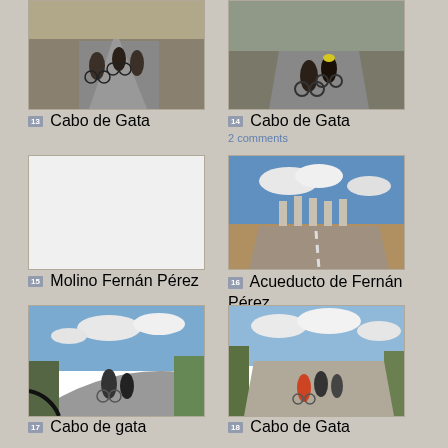[Figure (photo): Cyclists riding on a road, view from behind, arid landscape]
13 Cabo de Gata
[Figure (photo): Cyclists riding on a road, view from behind, multiple riders visible]
14 Cabo de Gata
2 comments
[Figure (photo): White/blank image placeholder]
15 Molino Fernán Pérez
[Figure (photo): Road with aqueduct structure in background, blue sky with clouds]
16 Acueducto de Fernán Pérez
[Figure (photo): Cyclists on a winding road, blue sky with clouds]
17 Cabo de gata
[Figure (photo): Cyclists riding on road with vegetation on sides]
18 Cabo de Gata